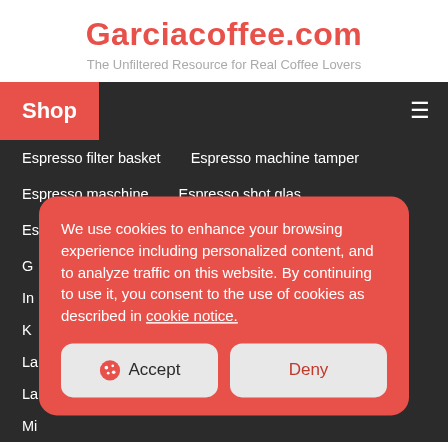Garciacoffee.com
The Unfiltered Resource for Real Coffee Lovers
Shop
Espresso filter basket
Espresso machine tamper
Espresso maschine
Espresso shot glas
Espresso shots to add to coffee
Espresso tales
G
In
K
La
La
Mi
We use cookies to enhance your browsing experience including personalized content, and to analyze traffic on this website. By continuing to use it, you consent to the use of cookies as described in cookie notice.
Accept
Deny